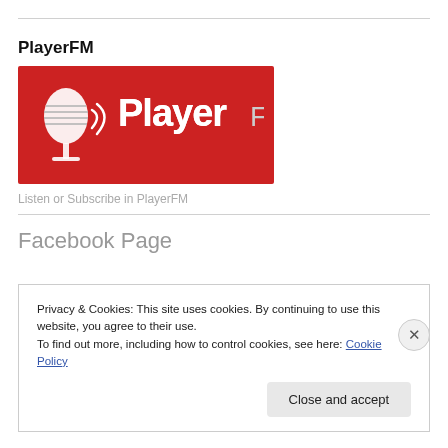PlayerFM
[Figure (logo): PlayerFM logo: red rectangle with microphone icon and 'Player FM' text in white/gray on red background]
Listen or Subscribe in PlayerFM
Facebook Page
Privacy & Cookies: This site uses cookies. By continuing to use this website, you agree to their use.
To find out more, including how to control cookies, see here: Cookie Policy